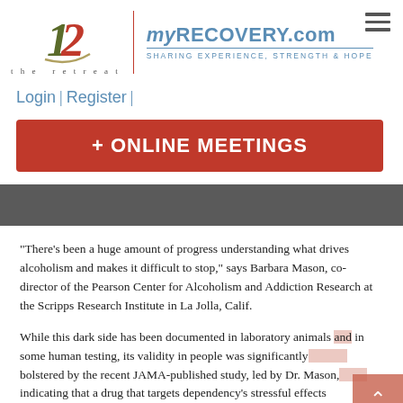[Figure (logo): The Retreat logo with stylized '12' and text 'the retreat', separated by a red vertical divider from myRECOVERY.com logo with tagline 'SHARING EXPERIENCE, STRENGTH & HOPE']
Login | Register |
+ ONLINE MEETINGS
“There’s been a huge amount of progress understanding what drives alcoholism and makes it difficult to stop,” says Barbara Mason, co-director of the Pearson Center for Alcoholism and Addiction Research at the Scripps Research Institute in La Jolla, Calif.
While this dark side has been documented in laboratory animals and in some human testing, its validity in people was significantly bolstered by the recent JAMA-published study, led by Dr. Mason, indicating that a drug that targets dependency’s stressful effects